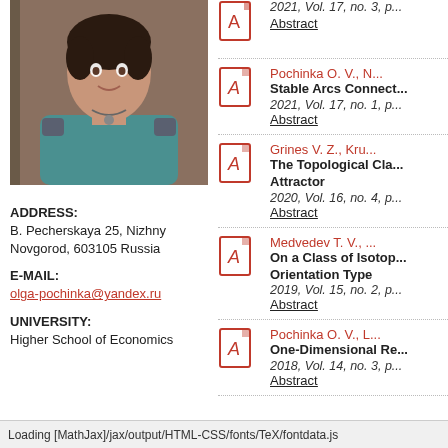[Figure (photo): Profile photo of a woman with short dark hair, wearing a teal top and necklace]
ADDRESS:
B. Pecherskaya 25, Nizhny Novgorod, 603105 Russia
E-MAIL:
olga-pochinka@yandex.ru
UNIVERSITY:
Higher School of Economics
Pochinka O. V., N... | Stable Arcs Connect... | 2021, Vol. 17, no. 1, p... | Abstract
Grines V. Z., Kru... | The Topological Cla... Attractor | 2020, Vol. 16, no. 4, p... | Abstract
Medvedev T. V., ... | On a Class of Isotop... Orientation Type | 2019, Vol. 15, no. 2, p... | Abstract
Pochinka O. V., L... | One-Dimensional Re... | 2018, Vol. 14, no. 3, p... | Abstract
Loading [MathJax]/jax/output/HTML-CSS/fonts/TeX/fontdata.js